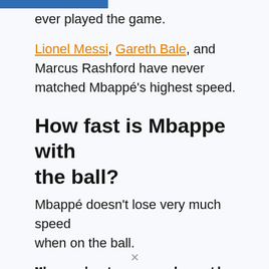ever played the game.
Lionel Messi, Gareth Bale, and Marcus Rashford have never matched Mbappé's highest speed.
How fast is Mbappe with the ball?
Mbappé doesn't lose very much speed when on the ball.
Mbappe's top speed on the ball is 22.41 mph (36.08 km/h). which is